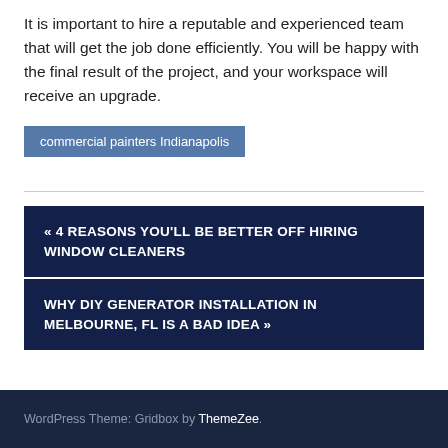It is important to hire a reputable and experienced team that will get the job done efficiently. You will be happy with the final result of the project, and your workspace will receive an upgrade.
commercial painters Indianapolis
« 4 REASONS YOU'LL BE BETTER OFF HIRING WINDOW CLEANERS
WHY DIY GENERATOR INSTALLATION IN MELBOURNE, FL IS A BAD IDEA »
WordPress Theme: Gridbox by ThemeZee.